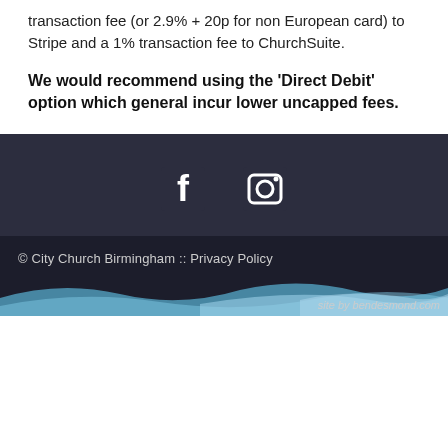transaction fee (or 2.9% + 20p for non European card) to Stripe and a 1% transaction fee to ChurchSuite.
We would recommend using the 'Direct Debit' option which general incur lower uncapped fees.
[Figure (other): Social media icons: Facebook and Instagram, displayed in dark navy footer area]
© City Church Birmingham :: Privacy Policy
site by bendesmond.com